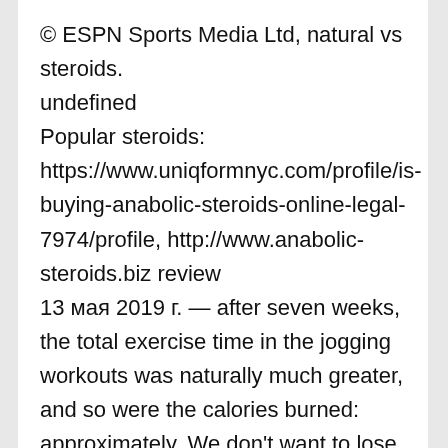© ESPN Sports Media Ltd, natural vs steroids.
undefined
Popular steroids:
https://www.uniqformnyc.com/profile/is-buying-anabolic-steroids-online-legal-7974/profile, http://www.anabolic-steroids.biz review
13 мая 2019 г. — after seven weeks, the total exercise time in the jogging workouts was naturally much greater, and so were the calories burned: approximately. We don't want to lose weight, although that's often stated as the goal — we want to get leaner. We want to shed the fat and leave just the